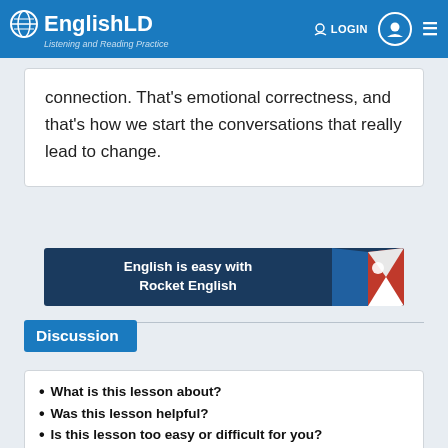EnglishLD — Listening and Reading Practice | LOGIN
connection. That's emotional correctness, and that's how we start the conversations that really lead to change.
[Figure (other): Advertisement banner: English is easy with Rocket English]
Discussion
What is this lesson about?
Was this lesson helpful?
Is this lesson too easy or difficult for you?
Login and share to other learners your own texts, opinions by